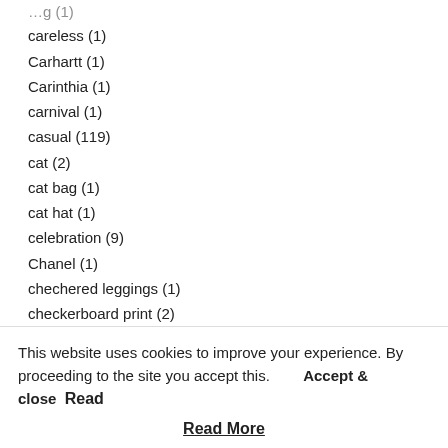careless (1)
Carhartt (1)
Carinthia (1)
carnival (1)
casual (119)
cat (2)
cat bag (1)
cat hat (1)
celebration (9)
Chanel (1)
chechered leggings (1)
checkerboard print (2)
checkered (3)
checkered coat (2)
checkered shirt (3)
This website uses cookies to improve your experience. By proceeding to the site you accept this.
Accept & close
Read More